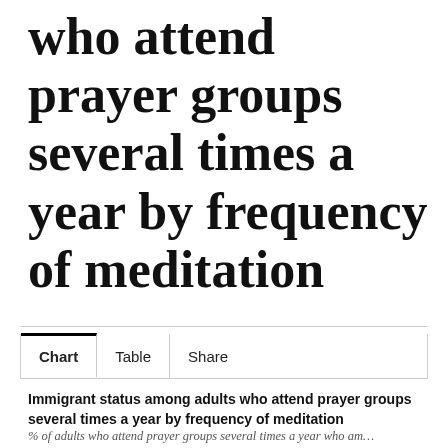who attend prayer groups several times a year by frequency of meditation
Chart | Table | Share
Immigrant status among adults who attend prayer groups several times a year by frequency of meditation
% of adults who attend prayer groups several times a year who am…